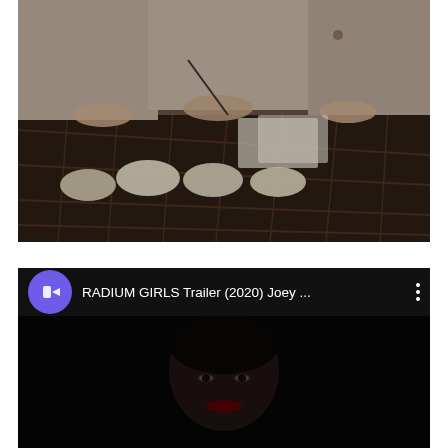[Figure (photo): Women in light-colored work uniforms sitting at a wooden compartmentalized tray/display case, handling small objects. Small glass bottles and white shell-like objects visible. Dark background. Period-looking scene suggesting historical factory setting.]
[Figure (screenshot): YouTube video thumbnail/player screenshot showing 'RADIUM GIRLS Trailer (2020) Joey ...' with a purple ticket app icon as the channel avatar, three vertical dots menu icon, and a dark cinematic frame showing a young woman's face with dark eyes.]